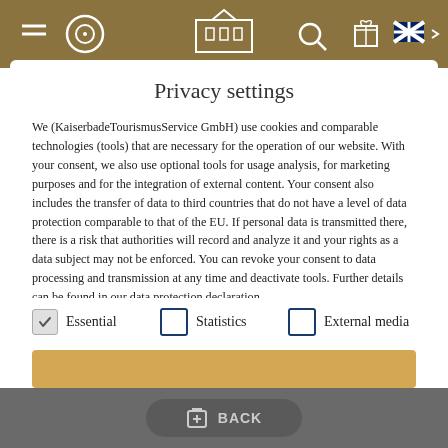[Figure (screenshot): Website header navigation bar with brown/gold background showing hamburger menu, circular icon, KAISER logo (building/temple icon), search icon, gift icon, and UK flag language selector]
Privacy settings
We (KaiserbadeTourismusService GmbH) use cookies and comparable technologies (tools) that are necessary for the operation of our website. With your consent, we also use optional tools for usage analysis, for marketing purposes and for the integration of external content. Your consent also includes the transfer of data to third countries that do not have a level of data protection comparable to that of the EU. If personal data is transmitted there, there is a risk that authorities will record and analyze it and your rights as a data subject may not be enforced. You can revoke your consent to data processing and transmission at any time and deactivate tools. Further details can be found in our data protection declaration.
Essential (checked)
Statistics (unchecked)
External media (unchecked)
[Figure (screenshot): Accept all button in gold/amber color at bottom of modal, partially visible]